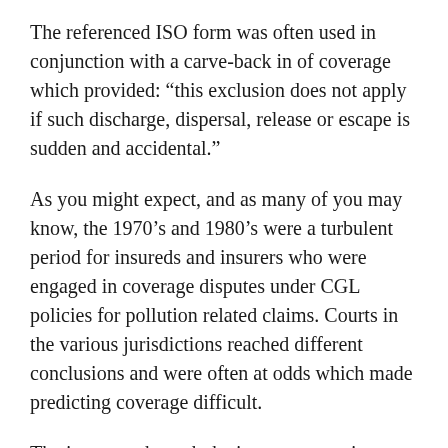The referenced ISO form was often used in conjunction with a carve-back in of coverage which provided: “this exclusion does not apply if such discharge, dispersal, release or escape is sudden and accidental.”
As you might expect, and as many of you may know, the 1970’s and 1980’s were a turbulent period for insureds and insurers who were engaged in coverage disputes under CGL policies for pollution related claims. Courts in the various jurisdictions reached different conclusions and were often at odds which made predicting coverage difficult.
The insurers, through the insurance service organization, created an absolute pollution exclusion in 1985 (See ISO form CG0021207), which excluded coverage for the